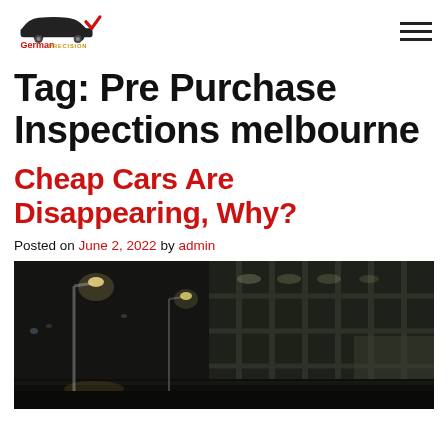German Precision [logo]
Tag: Pre Purchase Inspections melbourne
Cheap Cars Are Disappearing, Why?
Posted on June 2, 2022 by admin
[Figure (photo): Nighttime photo of a glass-facade building exterior with street lights in the foreground, dark atmosphere]